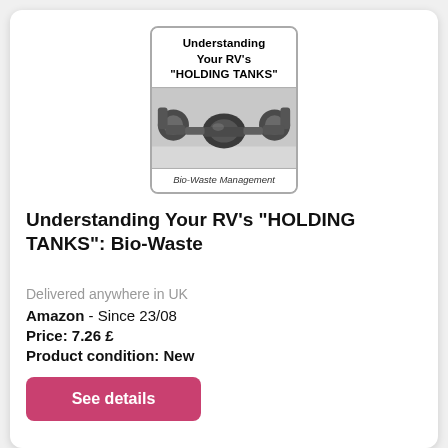[Figure (illustration): Book cover for 'Understanding Your RV's HOLDING TANKS: Bio-Waste Management' showing plumbing/pipe fittings photo in the center]
Understanding Your RV's "HOLDING TANKS": Bio-Waste
Delivered anywhere in UK
Amazon  - Since 23/08
Price: 7.26 £
Product condition: New
See details